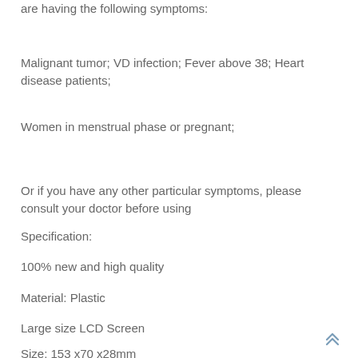are having the following symptoms:
Malignant tumor; VD infection; Fever above 38; Heart disease patients;
Women in menstrual phase or pregnant;
Or if you have any other particular symptoms, please consult your doctor before using
Specification:
100% new and high quality
Material: Plastic
Large size LCD Screen
Size: 153 x70 x28mm
[Figure (other): Double chevron up arrow icon for scroll to top]